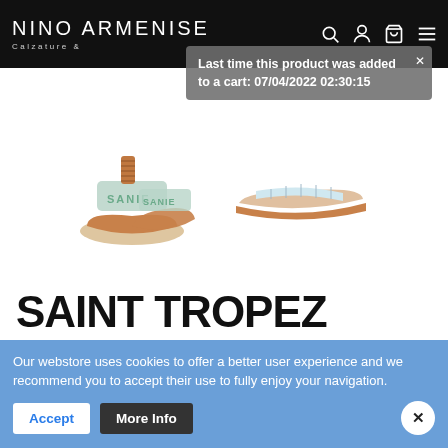NINO ARMENISE Calzature &
Last time this product was added to a cart: 07/04/2022 02:30:15
[Figure (photo): Two sandals shown: a pair of embroidered slide sandals on the left and a single side-view slide sandal on the right]
SAINT TROPEZ
Manufacturer: DE SIENA   Reference 37331_38
Taglia:
38
116,73 € 145,00 € 30%
Our webstore uses cookies to offer a better user experience and we recommend you to accept their use to fully enjoy your navigation.
Accept
More Info